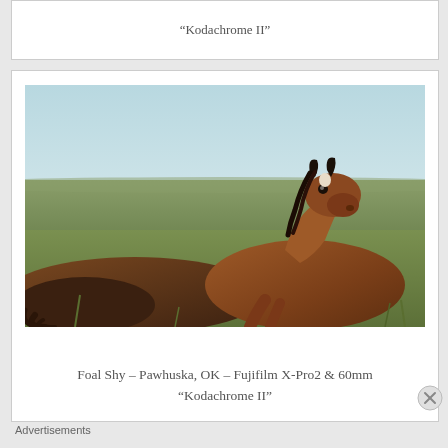“Kodachrome II”
[Figure (photo): A young brown foal lying and resting on a grass field in Pawhuska, OK, photographed with Fujifilm X-Pro2 & 60mm, Kodachrome II film simulation.]
Foal Shy – Pawhuska, OK – Fujifilm X-Pro2 & 60mm “Kodachrome II”
Advertisements